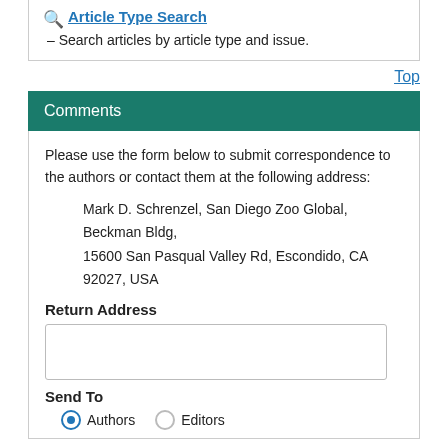Article Type Search – Search articles by article type and issue.
Top
Comments
Please use the form below to submit correspondence to the authors or contact them at the following address:
Mark D. Schrenzel, San Diego Zoo Global, Beckman Bldg, 15600 San Pasqual Valley Rd, Escondido, CA 92027, USA
Return Address
Send To
Authors   Editors